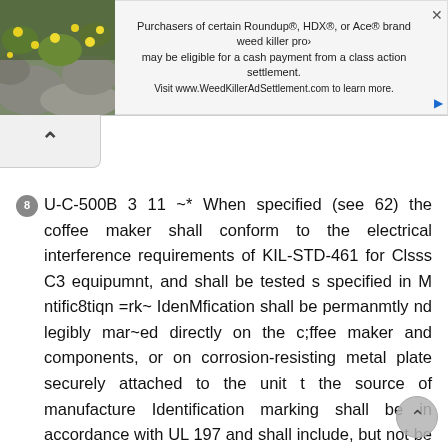[Figure (other): Advertisement banner: photo of yellow flowers on rocks on the left, text on right reading 'Purchasers of certain Roundup®, HDX®, or Ace® brand weed killer products may be eligible for a cash payment from a class action settlement. Visit www.WeedKillerAdSettlement.com to learn more.']
8 U-C-500B 3 11 ~* When specified (see 62) the coffee maker shall conform to the electrical interference requirements of KIL-STD-461 for Clsss C3 equipumnt, and shall be tested s specified in M ntific8tiqn =rk~ IdenMfication shall be permanmtly nd legibly mar~ed directly on the c;ffee maker and components, or on corrosion-resisting metal plate securely attached to the unit t the source of manufacture Identification marking shall be in accordance with UL 197 and shall include, but not be limited to, the manufacturer s model, aerial number, name, electrical rating, date of awnafacturoo and plumbi~ requirements, if applicable 3*12*1 ~* lihenspecified (see 62), milit8ry markings for each coffee maker uhall be furnished The markings shall be s permanent as the nomaal life expectancy of the coffee aaker end shall include the applicable military contract number and other information